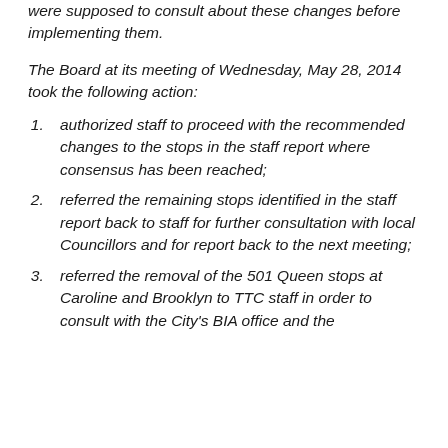were supposed to consult about these changes before implementing them.
The Board at its meeting of Wednesday, May 28, 2014 took the following action:
authorized staff to proceed with the recommended changes to the stops in the staff report where consensus has been reached;
referred the remaining stops identified in the staff report back to staff for further consultation with local Councillors and for report back to the next meeting;
referred the removal of the 501 Queen stops at Caroline and Brooklyn to TTC staff in order to consult with the City's BIA office and the locally BIA and...